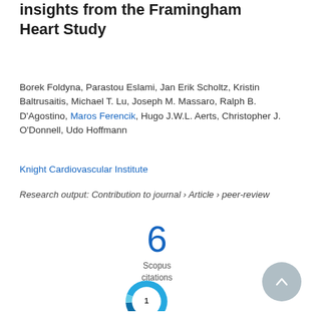insights from the Framingham Heart Study
Borek Foldyna, Parastou Eslami, Jan Erik Scholtz, Kristin Baltrusaitis, Michael T. Lu, Joseph M. Massaro, Ralph B. D'Agostino, Maros Ferencik, Hugo J.W.L. Aerts, Christopher J. O'Donnell, Udo Hoffmann
Knight Cardiovascular Institute
Research output: Contribution to journal › Article › peer-review
[Figure (infographic): Scopus citations count showing the number 6 in large blue font with 'Scopus citations' label below]
[Figure (donut-chart): Partial donut chart in blue/teal colors showing the number 1 in the center, partially visible at the bottom of the page]